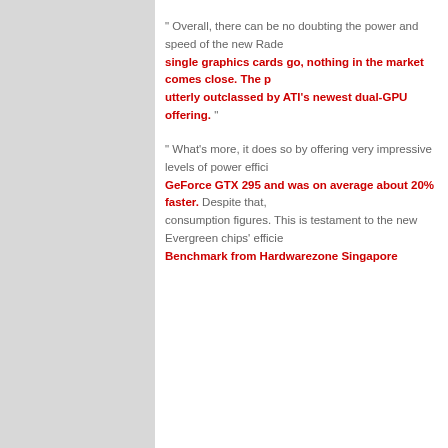" Overall, there can be no doubting the power and speed of the new Rade... single graphics cards go, nothing in the market comes close. The p... utterly outclassed by ATI's newest dual-GPU offering. "
" What's more, it does so by offering very impressive levels of power effici... GeForce GTX 295 and was on average about 20% faster. Despite that,... consumption figures. This is testament to the new Evergreen chips' efficie... Benchmark from Hardwarezone Singapore